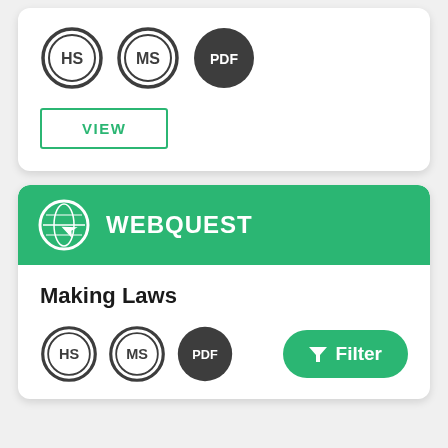[Figure (other): Three badge icons: HS (outline double ring), MS (outline double ring), PDF (filled dark circle)]
VIEW
[Figure (other): WEBQUEST card header with globe icon and green background]
Making Laws
[Figure (other): Three badge icons: HS (outline double ring), MS (outline double ring), PDF (filled dark circle)]
Filter